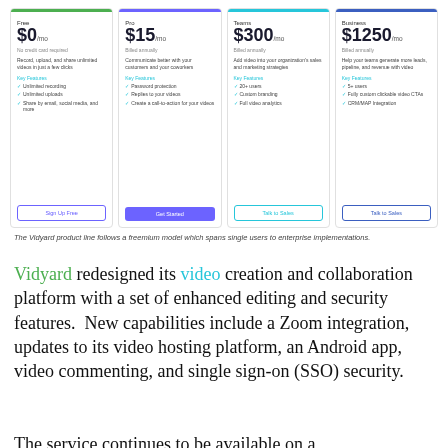[Figure (screenshot): Vidyard pricing cards showing four tiers: Free ($0/mo), Pro ($15/mo), Teams ($300/mo), Business ($1250/mo), each with key features and a CTA button]
The Vidyard product line follows a freemium model which spans single users to enterprise implementations.
Vidyard redesigned its video creation and collaboration platform with a set of enhanced editing and security features. New capabilities include a Zoom integration, updates to its video hosting platform, an Android app, video commenting, and single sign-on (SSO) security.
The service continues to be available on a